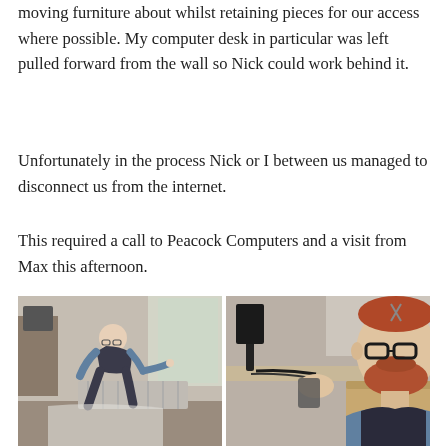moving furniture about whilst retaining pieces for our access where possible. My computer desk in particular was left pulled forward from the wall so Nick could work behind it.
Unfortunately in the process Nick or I between us managed to disconnect us from the internet.
This required a call to Peacock Computers and a visit from Max this afternoon.
[Figure (photo): Two side-by-side photos. Left: a man with glasses and a beard, wearing a blue shirt and dark vest, crouching near a radiator by a window, working on something. Right: a close-up of a young man with glasses and a red beard, wearing a dark vest over a blue shirt, holding a device, with a monitor and cables visible on a surface.]